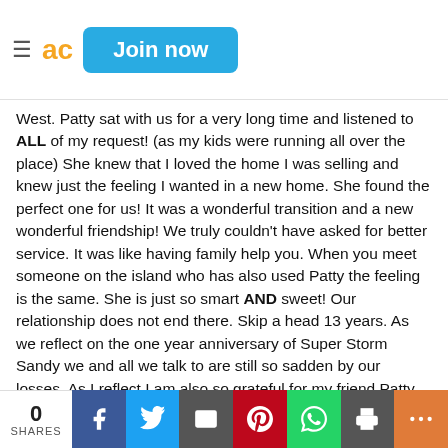ad  Join now
West. Patty sat with us for a very long time and listened to ALL of my request! (as my kids were running all over the place) She knew that I loved the home I was selling and knew just the feeling I wanted in a new home. She found the perfect one for us! It was a wonderful transition and a new wonderful friendship! We truly couldn't have asked for better service. It was like having family help you. When you meet someone on the island who has also used Patty the feeling is the same. She is just so smart AND sweet! Our relationship does not end there. Skip a head 13 years. As we reflect on the one year anniversary of Super Storm Sandy we and all we talk to are still so sadden by our losses. As I reflect I am also so grateful for my friend Patty Romano. Now our new home was on the market with Patty. We were living out of the country. Patty had open house showings for us all the while checking on our property in our absence. THEN
0 SHARES  f  t  email  p  whatsapp  print  +